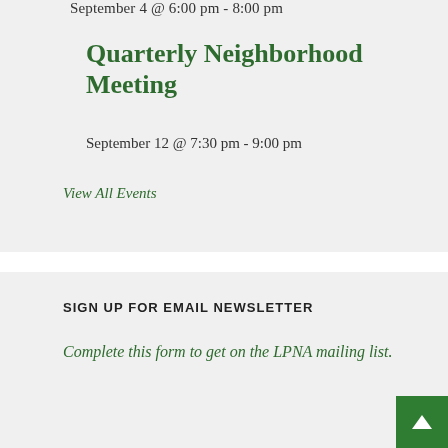September 4 @ 6:00 pm - 8:00 pm
Quarterly Neighborhood Meeting
September 12 @ 7:30 pm - 9:00 pm
View All Events
SIGN UP FOR EMAIL NEWSLETTER
Complete this form to get on the LPNA mailing list.